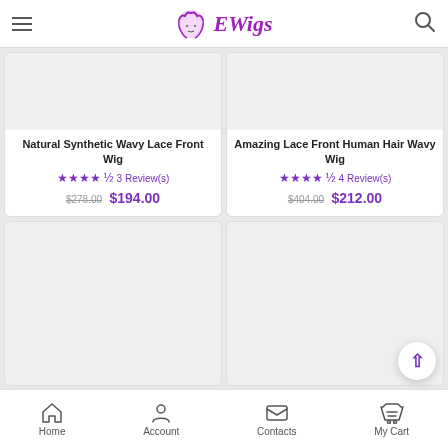EWigs
[Figure (screenshot): Product card image placeholder (light gray) for Natural Synthetic Wavy Lace Front Wig]
Natural Synthetic Wavy Lace Front Wig
3 Review(s)
$278.00 $194.00
[Figure (screenshot): Product card image placeholder (light gray) for Amazing Lace Front Human Hair Wavy Wig]
Amazing Lace Front Human Hair Wavy Wig
4 Review(s)
$404.00 $212.00
[Figure (screenshot): Product card image placeholder (light gray) - bottom left]
[Figure (screenshot): Product card image placeholder (light gray) - bottom right]
Home  Account  Contacts  My Cart